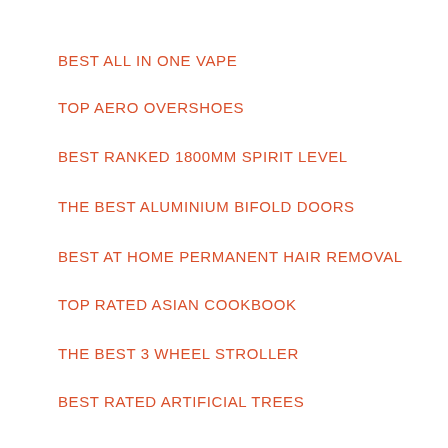BEST ALL IN ONE VAPE
TOP AERO OVERSHOES
BEST RANKED 1800MM SPIRIT LEVEL
THE BEST ALUMINIUM BIFOLD DOORS
BEST AT HOME PERMANENT HAIR REMOVAL
TOP RATED ASIAN COOKBOOK
THE BEST 3 WHEEL STROLLER
BEST RATED ARTIFICIAL TREES
BEST YOGA MAT FOR BEGINNERS
BEST ARMAGNAC